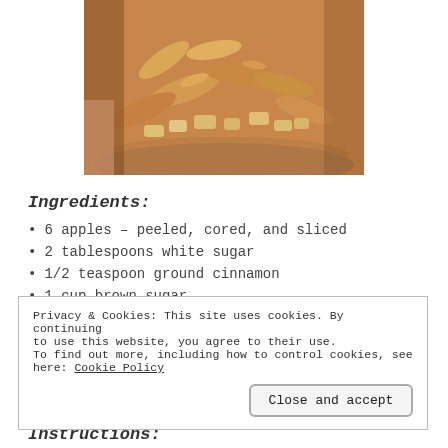[Figure (photo): Close-up photo of cooked apple crisp dessert in a glass bowl, showing caramelized apple slices with crumble topping]
Ingredients:
6 apples – peeled, cored, and sliced
2 tablespoons white sugar
1/2 teaspoon ground cinnamon
1 cup brown sugar
Privacy & Cookies: This site uses cookies. By continuing to use this website, you agree to their use.
To find out more, including how to control cookies, see here: Cookie Policy
[Close and accept]
Instructions: